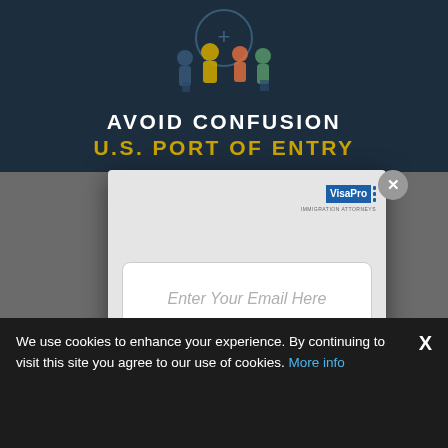[Figure (screenshot): Dark navy background with travelers/people silhouette illustration at top, showing a popup modal overlay on a website. Text reads AVOID CONFUSION and U.S. PORT OF ENTRY in large letters.]
AVOID CONFUSION
U.S. PORT OF ENTRY
[Figure (logo): VisaPro Immigration Attorneys logo - blue box with white text VisaPro and vertical bar accents]
Enter Your Email Here
We use cookies to enhance your experience. By continuing to visit this site you agree to our use of cookies. More info